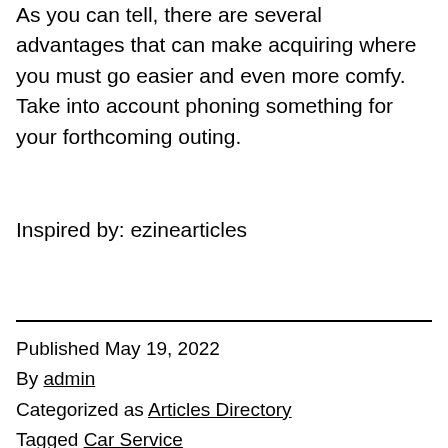As you can tell, there are several advantages that can make acquiring where you must go easier and even more comfy. Take into account phoning something for your forthcoming outing.
Inspired by: ezinearticles
Published May 19, 2022
By admin
Categorized as Articles Directory
Tagged Car Service